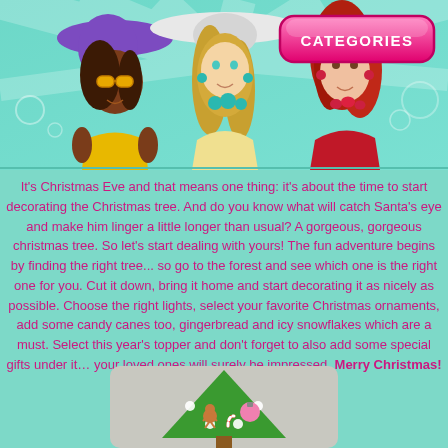[Figure (illustration): Banner with teal/mint gradient background with radiating light rays and bubbles. Three illustrated fashion girls: left - dark-skinned woman with purple hat and yellow sunglasses and yellow outfit; center - blonde woman with white wide-brim hat and teal jewelry; right - woman with red hair in red strapless dress with red necklace. A pink rounded rectangle 'CATEGORIES' button in upper right.]
It's Christmas Eve and that means one thing: it's about the time to start decorating the Christmas tree. And do you know what will catch Santa's eye and make him linger a little longer than usual? A gorgeous, gorgeous christmas tree. So let's start dealing with yours! The fun adventure begins by finding the right tree... so go to the forest and see which one is the right one for you. Cut it down, bring it home and start decorating it as nicely as possible. Choose the right lights, select your favorite Christmas ornaments, add some candy canes too, gingerbread and icy snowflakes which are a must. Select this year's topper and don't forget to also add some special gifts under it… your loved ones will surely be impressed. Merry Christmas!
[Figure (illustration): Bottom partial view of a Christmas tree game thumbnail - green Christmas tree shape with a gingerbread man decoration and pink ornament ball visible, white lights, on a gray/beige rounded rectangle background.]